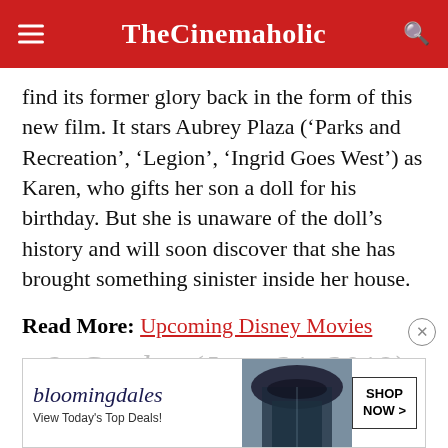TheCinemaholic
find its former glory back in the form of this new film. It stars Aubrey Plaza (‘Parks and Recreation’, ‘Legion’, ‘Ingrid Goes West’) as Karen, who gifts her son a doll for his birthday. But she is unaware of the doll’s history and will soon discover that she has brought something sinister inside her house.
Read More: Upcoming Disney Movies
8. Grudge (June 21, 2019)
[Figure (screenshot): Bloomingdale's advertisement banner: 'bloomingdales - View Today’s Top Deals!' with image of woman in hat and 'SHOP NOW >' button]